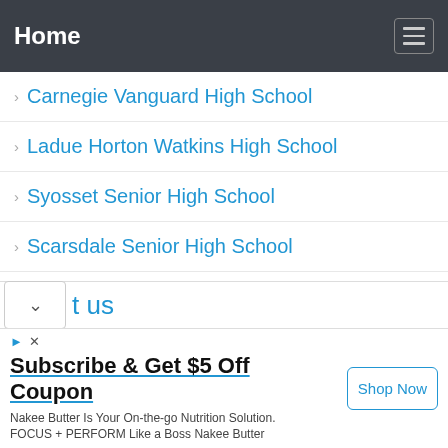Home
Carnegie Vanguard High School
Ladue Horton Watkins High School
Syosset Senior High School
Scarsdale Senior High School
Jones College Prep High School
t us
Subscribe & Get $5 Off Coupon
Nakee Butter Is Your On-the-go Nutrition Solution.
FOCUS + PERFORM Like a Boss Nakee Butter